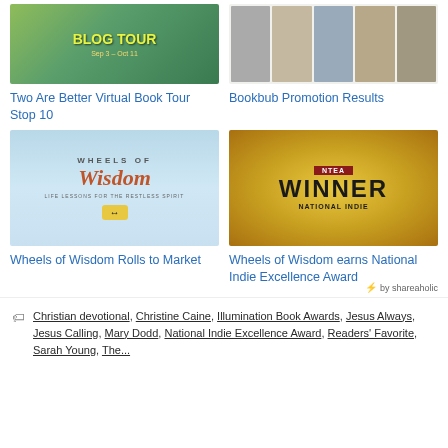[Figure (photo): Two Are Better Virtual Book Tour - Blog Tour banner with green background, Sep 3 - Oct 11]
Two Are Better Virtual Book Tour Stop 10
[Figure (photo): Bookbub Promotion Results - grid of book covers with star ratings]
Bookbub Promotion Results
[Figure (photo): Wheels of Wisdom book cover - Life Lessons for the Restless Spirit with double arrow road sign]
Wheels of Wisdom Rolls to Market
[Figure (photo): National Indie Excellence Award badge - gold circular seal with WINNER text]
Wheels of Wisdom earns National Indie Excellence Award
by shareaholic
Christian devotional, Christine Caine, Illumination Book Awards, Jesus Always, Jesus Calling, Mary Dodd, National Indie Excellence Award, Readers' Favorite, Sarah Young, ...